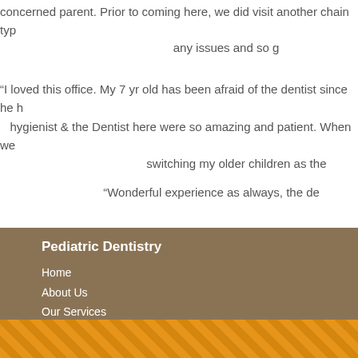concerned parent. Prior to coming here, we did visit another chain typ... any issues and so g...
“I loved this office. My 7 yr old has been afraid of the dentist since he h... hygienist & the Dentist here were so amazing and patient. When we... switching my older children as the...
“Wonderful experience as always, the de...
Pediatric Dentistry
Home
About Us
Our Services
Office Polices and Information
Contact Us